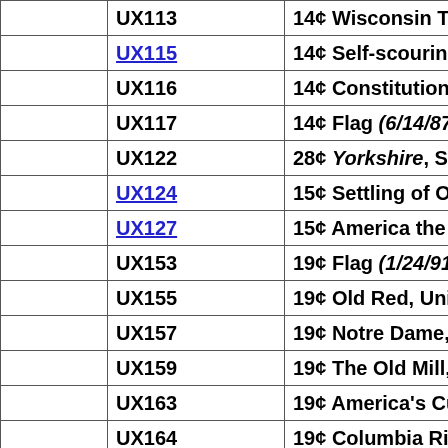|  | Code | Description |
| --- | --- | --- |
|  | UX113 | 14¢ Wisconsin Territ… |
|  | UX115 | 14¢ Self-scouring ste… |
|  | UX116 | 14¢ Constitutional C… |
|  | UX117 | 14¢ Flag (6/14/87) |
|  | UX122 | 28¢ Yorkshire, Squan… |
|  | UX124 | 15¢ Settling of Ohio … |
|  | UX127 | 15¢ America the Bea… |
|  | UX153 | 19¢ Flag (1/24/91) |
|  | UX155 | 19¢ Old Red, Univ. of… |
|  | UX157 | 19¢ Notre Dame, Adr… |
|  | UX159 | 19¢ The Old Mill, Uni… |
|  | UX163 | 19¢ America's Cup (C… |
|  | UX164 | 19¢ Columbia River G… |
|  | UX169 | 19¢ Ft. Recovery, OH… |
|  | UX171 | 19¢ O'Kane Hall, Hol… |
|  | UX172 | 19¢ Beecher Hall (10/… |
|  | UX174 | 19¢ Abraham Lincoln… |